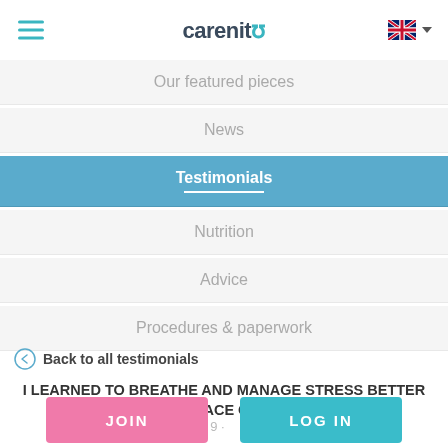carenity
Our featured pieces
News
Testimonials
Nutrition
Advice
Procedures & paperwork
Back to all testimonials
I LEARNED TO BREATHE AND MANAGE STRESS BETTER IN THE FACE OF COPD
JOIN  LOG IN